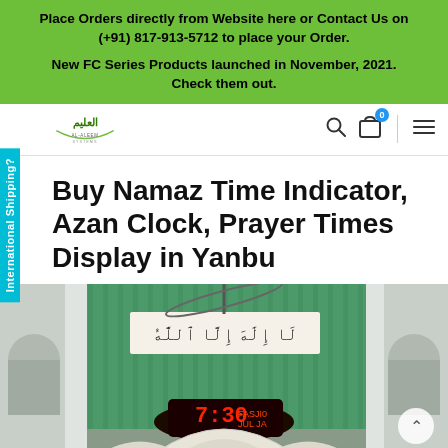Place Orders directly from Website here or Contact Us on (+91) 817-913-5712 to place your Order.
New FC Series Products launched in November, 2021. Check them out.
[Figure (logo): Al-Aleem Systems logo with Arabic text and company name]
Buy Namaz Time Indicator, Azan Clock, Prayer Times Display in Yanbu
[Figure (photo): Interior of a mosque showing a prayer times display/LED clock showing 7:30, with green striped wall, arched windows, and Arabic calligraphy banner]